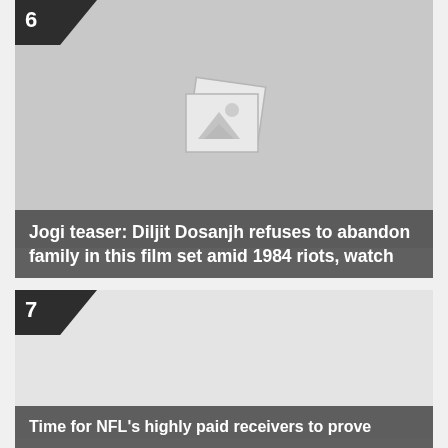[Figure (other): Placeholder image thumbnail with number badge 6]
Jogi teaser: Diljit Dosanjh refuses to abandon family in this film set amid 1984 riots, watch
[Figure (other): Placeholder image thumbnail with number badge 7]
Time for NFL's highly paid receivers to prove